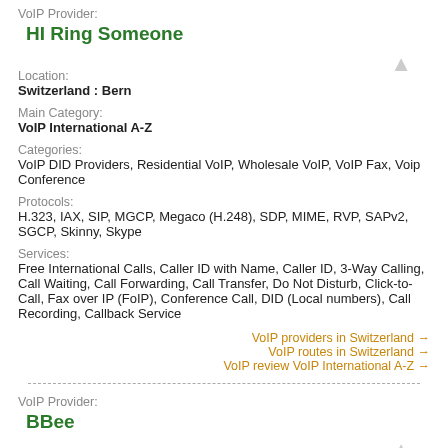VoIP Provider:
HI Ring Someone
Location:
Switzerland : Bern
Main Category:
VoIP International A-Z
Categories:
VoIP DID Providers, Residential VoIP, Wholesale VoIP, VoIP Fax, Voip Conference
Protocols:
H.323, IAX, SIP, MGCP, Megaco (H.248), SDP, MIME, RVP, SAPv2, SGCP, Skinny, Skype
Services:
Free International Calls, Caller ID with Name, Caller ID, 3-Way Calling, Call Waiting, Call Forwarding, Call Transfer, Do Not Disturb, Click-to-Call, Fax over IP (FoIP), Conference Call, DID (Local numbers), Call Recording, Callback Service
VoIP providers in Switzerland →
VoIP routes in Switzerland →
VoIP review VoIP International A-Z →
VoIP Provider:
BBee
Location:
Switzerland
Main Category: